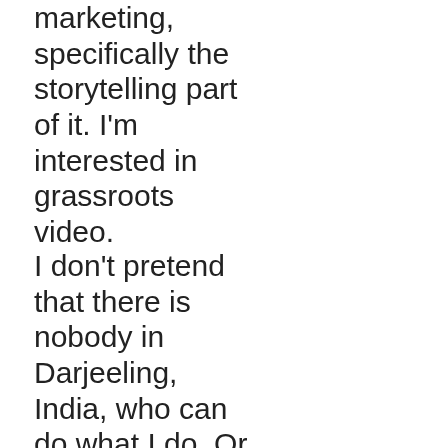marketing, specifically the storytelling part of it. I'm interested in grassroots video.
I don't pretend that there is nobody in Darjeeling, India, who can do what I do. Or that I'm going to turn into their remote technology expert. I'm just the techie